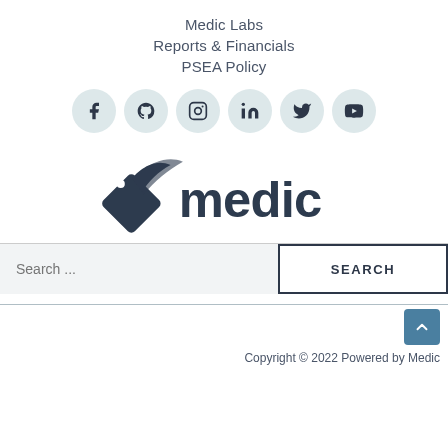Medic Labs
Reports & Financials
PSEA Policy
[Figure (illustration): Row of six social media icon circles: Facebook, GitHub, Instagram, LinkedIn, Twitter, YouTube]
[Figure (logo): Medic logo — winged tag icon with the word 'medic' in dark teal]
Search ...
Copyright © 2022 Powered by Medic